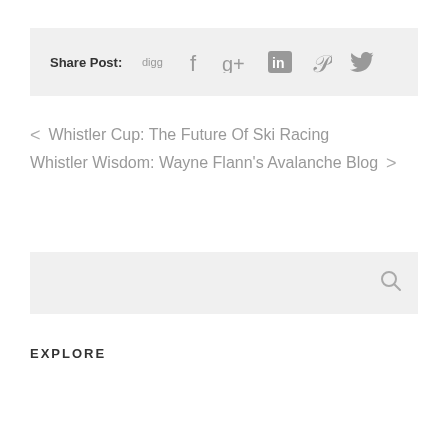Share Post: digg f g+ in P (twitter)
< Whistler Cup: The Future Of Ski Racing
Whistler Wisdom: Wayne Flann's Avalanche Blog >
EXPLORE